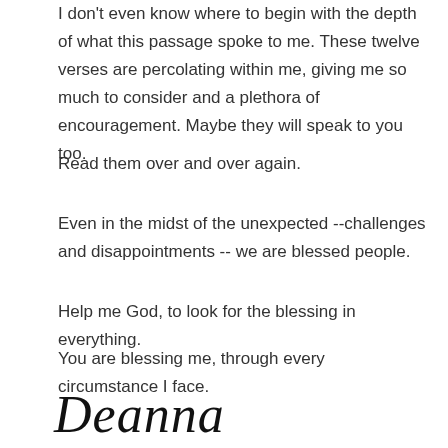I don't even know where to begin with the depth of what this passage spoke to me.  These twelve verses are percolating within me, giving me so much to consider and a plethora of encouragement.  Maybe they will speak to you too.
Read them over and over again.
Even in the midst of the unexpected --challenges and disappointments  -- we are blessed people.
Help me God, to look for the blessing in everything.
You are blessing me, through every circumstance I face.
[Figure (illustration): Handwritten cursive signature reading 'Deanna']